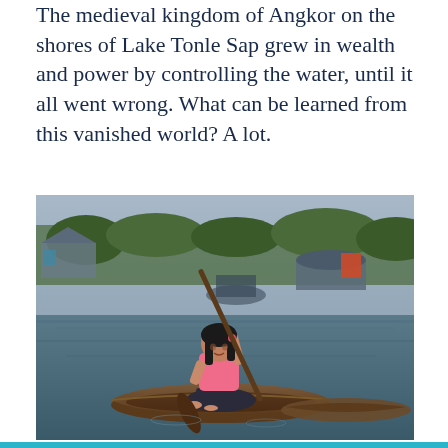The medieval kingdom of Angkor on the shores of Lake Tonle Sap grew in wealth and power by controlling the water, until it all went wrong. What can be learned from this vanished world? A lot.
[Figure (photo): A young girl in a pink shirt sits in a wooden dugout canoe on a lake, paddling with a long wooden oar. In the background are other boats and a floating village with trees, under a hazy sky.]